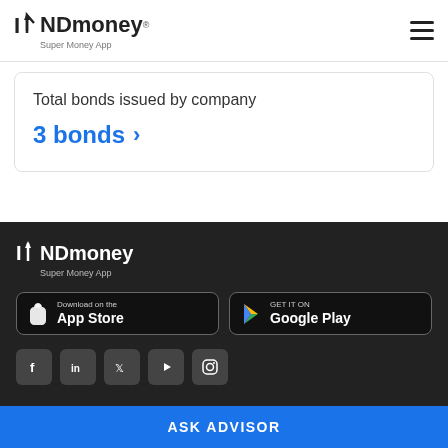INDmoney® Super Money App
Total bonds issued by company
3 bonds >
[Figure (logo): INDmoney Super Money App logo in white on dark background, with App Store and Google Play download buttons]
ASK ADVISOR